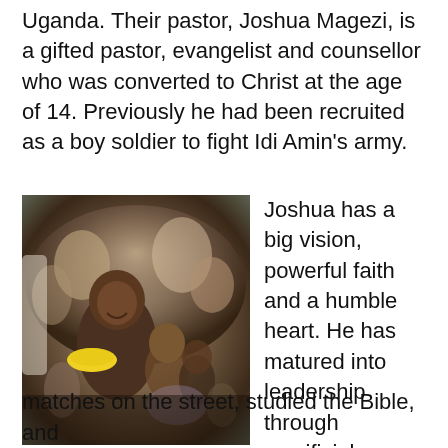Uganda. Their pastor, Joshua Magezi, is a gifted pastor, evangelist and counsellor who was converted to Christ at the age of 14. Previously he had been recruited as a boy soldier to fight Idi Amin's army.
[Figure (photo): A smiling man holding a yellow plate distributing food to a crowd of children and people in Uganda.]
Joshua has a big vision, powerful faith and a humble heart. He has matured into leadership through sacrificial service. As a teenager, committed to living totally for God, he began to clean pit latrines in a large Kampala church, sold
matches on the street, studied the Bible, and